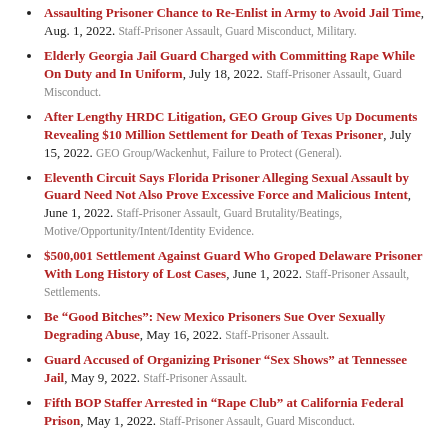Assaulting Prisoner Chance to Re-Enlist in Army to Avoid Jail Time, Aug. 1, 2022. Staff-Prisoner Assault, Guard Misconduct, Military.
Elderly Georgia Jail Guard Charged with Committing Rape While On Duty and In Uniform, July 18, 2022. Staff-Prisoner Assault, Guard Misconduct.
After Lengthy HRDC Litigation, GEO Group Gives Up Documents Revealing $10 Million Settlement for Death of Texas Prisoner, July 15, 2022. GEO Group/Wackenhut, Failure to Protect (General).
Eleventh Circuit Says Florida Prisoner Alleging Sexual Assault by Guard Need Not Also Prove Excessive Force and Malicious Intent, June 1, 2022. Staff-Prisoner Assault, Guard Brutality/Beatings, Motive/Opportunity/Intent/Identity Evidence.
$500,001 Settlement Against Guard Who Groped Delaware Prisoner With Long History of Lost Cases, June 1, 2022. Staff-Prisoner Assault, Settlements.
Be “Good Bitches”: New Mexico Prisoners Sue Over Sexually Degrading Abuse, May 16, 2022. Staff-Prisoner Assault.
Guard Accused of Organizing Prisoner “Sex Shows” at Tennessee Jail, May 9, 2022. Staff-Prisoner Assault.
Fifth BOP Staffer Arrested in “Rape Club” at California Federal Prison, May 1, 2022. Staff-Prisoner Assault, Guard Misconduct.